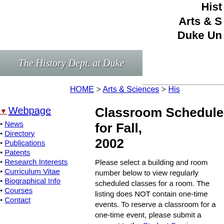Hist
Arts & S
Duke Un
[Figure (logo): The History Dept. at Duke - logo banner with italic script text on gray gradient background]
HOME > Arts & Sciences > His
▼Webpage
News
Directory
Publications
Patents
Research Interests
Curriculum Vitae
Biographical Info
Courses
Contact
Classroom Schedule for Fall, 2002
Please select a building and room number below to view regularly scheduled classes for a room. The listing does NOT contain one-time events. To reserve a classroom for a one-time event, please submit a request to the Student Services Center.
Choose A Building ▾   Choose A Classroom ▾
Classes regularly scheduled in Franklin Center 028 for Fall, 2002
| Day |
| --- |
| MON |
| TUES |
| WED |
| THURS |